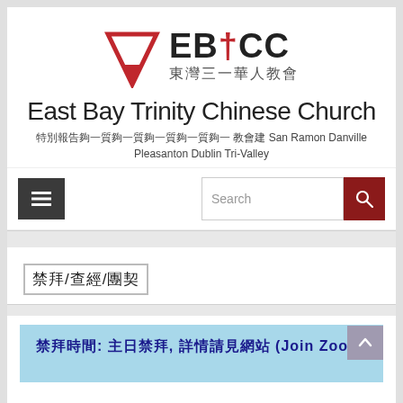[Figure (logo): EBTCC logo: red downward-pointing triangle/arrow shape with cross symbol, alongside text 'EBtCC' in bold and '東灣三一華人教會' in Chinese below]
East Bay Trinity Chinese Church
東灣三一華人教會 教會 San Ramon Danville Pleasanton Dublin Tri-Valley
[Figure (screenshot): Navigation bar with hamburger menu button (dark gray) on left, and search box with dark red search button on right]
禮拜/查經/團契
禮拜時間: 主日禮拜, 詳情請見網站 (Join Zoom